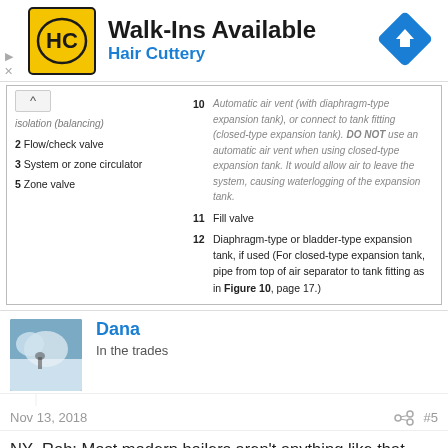[Figure (logo): Hair Cuttery advertisement banner with HC logo on yellow background, blue arrow road sign icon, text 'Walk-Ins Available' and 'Hair Cuttery']
isolation (balancing)
2 Flow/check valve
3 System or zone circulator
5 Zone valve
10 Automatic air vent (with diaphragm-type expansion tank), or connect to tank fitting (closed-type expansion tank). DO NOT use an automatic air vent when using closed-type expansion tank. It would allow air to leave the system, causing waterlogging of the expansion tank.
11 Fill valve
12 Diaphragm-type or bladder-type expansion tank, if used (For closed-type expansion tank, pipe from top of air separator to tank fitting as in Figure 10, page 17.)
Dana
In the trades
Nov 13, 2018
#5
NY_Rob: Most modern boilers aren't anything like that cast iron dinosaur in the diagram. Water tube mod-cons have somewhat higher head, and you're better off pumping TOWARD the boiler. Pumping toward the boiler makes it the highest pressure location on the loop, reducing any propensity for flash-boil/kettling in the heat exchanger. Placing the expansion tank